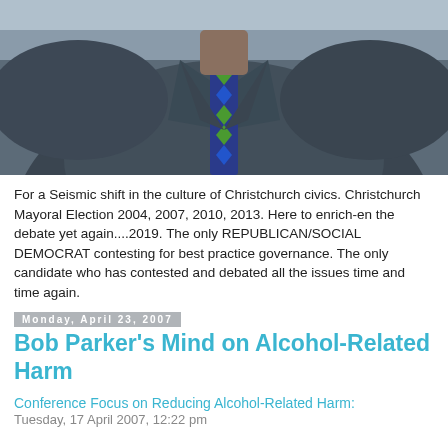[Figure (photo): Close-up photo of a man in a dark jacket and patterned tie (blue and green diamond pattern), cropped at the chest/neck area against a light background.]
For a Seismic shift in the culture of Christchurch civics. Christchurch Mayoral Election 2004, 2007, 2010, 2013. Here to enrich-en the debate yet again....2019. The only REPUBLICAN/SOCIAL DEMOCRAT contesting for best practice governance. The only candidate who has contested and debated all the issues time and time again.
Monday, April 23, 2007
Bob Parker's Mind on Alcohol-Related Harm
Conference Focus on Reducing Alcohol-Related Harm:
Tuesday, 17 April 2007, 12:22 pm